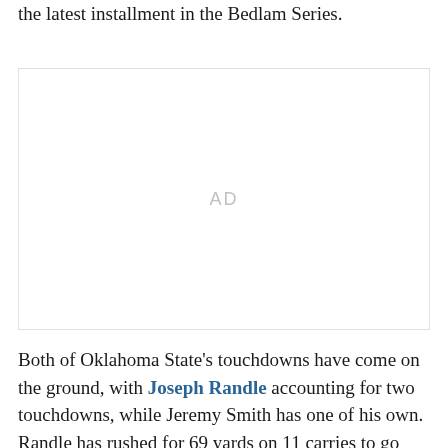the latest installment in the Bedlam Series.
[Figure (other): Advertisement placeholder box with 'AD' text centered]
Both of Oklahoma State's touchdowns have come on the ground, with Joseph Randle accounting for two touchdowns, while Jeremy Smith has one of his own. Randle has rushed for 69 yards on 11 carries to go along with Smith's 29 yards on six carries.